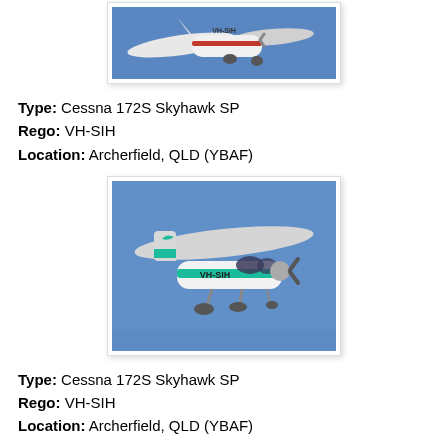[Figure (photo): Partial view of a white Cessna 172S aircraft (registration VH-SIH) in flight against a blue sky, cropped at top]
Type: Cessna 172S Skyhawk SP
Rego: VH-SIH
Location: Archerfield, QLD (YBAF)
[Figure (photo): Side view of a white Cessna 172S aircraft with teal/turquoise stripe, registration VH-SIH, in flight against a blue sky]
Type: Cessna 172S Skyhawk SP
Rego: VH-SIH
Location: Archerfield, QLD (YBAF)